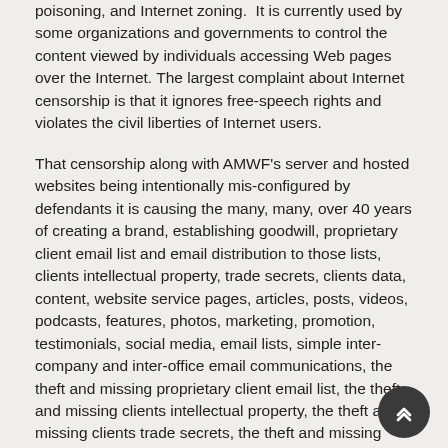poisoning, and Internet zoning.  It is currently used by some organizations and governments to control the content viewed by individuals accessing Web pages over the Internet. The largest complaint about Internet censorship is that it ignores free-speech rights and violates the civil liberties of Internet users.
That censorship along with AMWF's server and hosted websites being intentionally mis-configured by defendants it is causing the many, many, over 40 years of creating a brand, establishing goodwill, proprietary client email list and email distribution to those lists, clients intellectual property, trade secrets, clients data, content, website service pages, articles, posts, videos, podcasts, features, photos, marketing, promotion, testimonials, social media, email lists, simple inter-company and inter-office email communications, the theft and missing proprietary client email list, the theft and missing clients intellectual property, the theft and missing clients trade secrets, the theft and missing clients data, links to partner websites (blogroll), thousands of broken links prevent access to all these features via website visits, search engines, and by blocking web IP's, server IP's, device (computers, phones, tablets, etc.) IP's, email addresses, ALL INTERNET CONNECTED AND RELATED COMMUNICATIONS AND DEVICES, referrals, from ALL the above mentioned sources, for all intents and